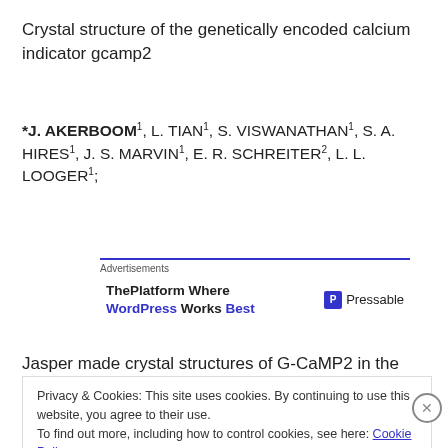Crystal structure of the genetically encoded calcium indicator gcamp2
*J. AKERBOOM¹, L. TIAN¹, S. VISWANATHAN¹, S. A. HIRES¹, J. S. MARVIN¹, E. R. SCHREITER², L. L. LOOGER¹;
[Figure (other): Advertisements banner: 'ThePlatform Where WordPress Works Best' with Pressable logo]
Jasper made crystal structures of G-CaMP2 in the apo
Privacy & Cookies: This site uses cookies. By continuing to use this website, you agree to their use. To find out more, including how to control cookies, see here: Cookie Policy